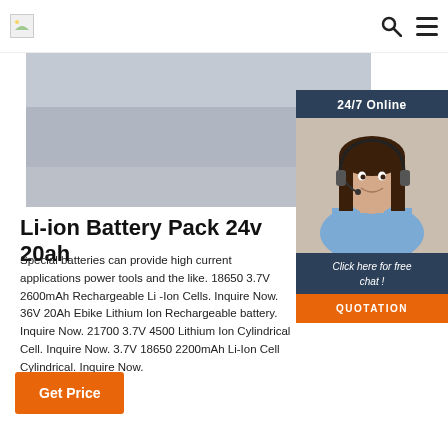[Figure (screenshot): Website navigation bar with logo, search icon, and hamburger menu]
[Figure (photo): Gray banner product image area for Li-ion Battery Pack]
[Figure (photo): 24/7 Online chat widget with woman wearing headset and call-to-action button]
Li-ion Battery Pack 24v 20ah
Special batteries can provide high current applications power tools and the like. 18650 3.7V 2600mAh Rechargeable Li-Ion Cells. Inquire Now. 36V 20Ah Ebike Lithium Ion Rechargeable battery. Inquire Now. 21700 3.7V 4500mAh Lithium Ion Cylindrical Cell. Inquire Now. 3.7V 18650 2200mAh Li-Ion Cell Cylindrical. Inquire Now.
Get Price